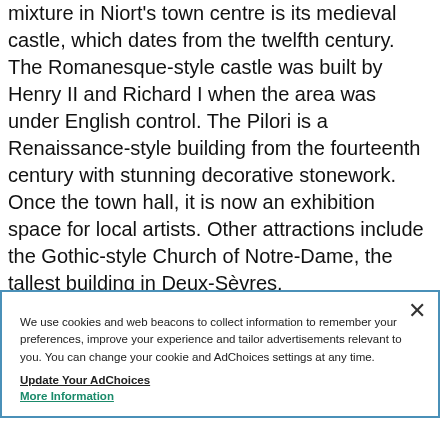mixture in Niort's town centre is its medieval castle, which dates from the twelfth century. The Romanesque-style castle was built by Henry II and Richard I when the area was under English control. The Pilori is a Renaissance-style building from the fourteenth century with stunning decorative stonework. Once the town hall, it is now an exhibition space for local artists. Other attractions include the Gothic-style Church of Notre-Dame, the tallest building in Deux-Sèvres.

Niort's market is held every Thursday and Saturday at a stunning hall designed by Gustaf Eifel, the same
We use cookies and web beacons to collect information to remember your preferences, improve your experience and tailor advertisements relevant to you. You can change your cookie and AdChoices settings at any time.
Update Your AdChoices
More Information